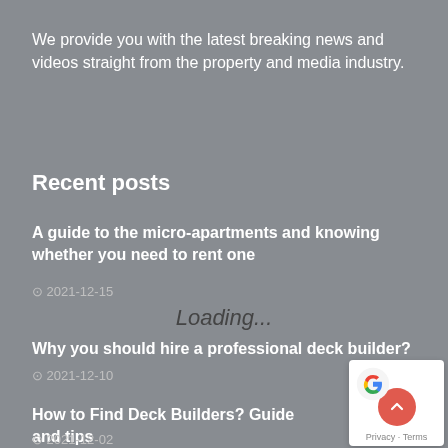We provide you with the latest breaking news and videos straight from the property and media industry.
Recent posts
A guide to the micro-apartments and knowing whether you need to rent one
⊙ 2021-12-15
Loading...
Why you should hire a professional deck builder?
⊙ 2021-12-10
How to Find Deck Builders? Guide and tips
⊙ 2021-12-02
[Figure (other): Google Maps widget with scroll-to-top button and Privacy/Terms footer]